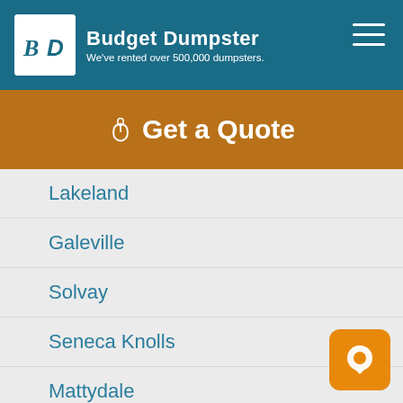Budget Dumpster — We've rented over 500,000 dumpsters.
Get a Quote
Lakeland
Galeville
Solvay
Seneca Knolls
Mattydale
Fairmount
Westvale
North Syracuse